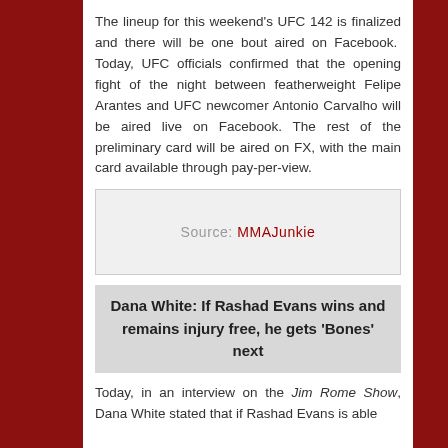The lineup for this weekend's UFC 142 is finalized and there will be one bout aired on Facebook.  Today, UFC officials confirmed that the opening fight of the night between featherweight Felipe Arantes and UFC newcomer Antonio Carvalho will be aired live on Facebook. The rest of the preliminary card will be aired on FX, with the main card available through pay-per-view.
[Figure (other): Source attribution box with text: Source: MMAJunkie]
Dana White: If Rashad Evans wins and remains injury free, he gets 'Bones' next
Today, in an interview on the Jim Rome Show, Dana White stated that if Rashad Evans is able